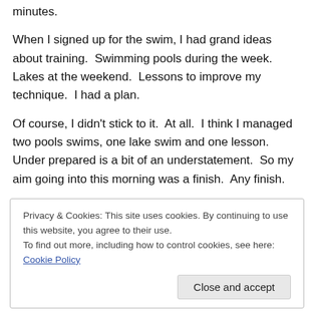minutes.
When I signed up for the swim, I had grand ideas about training.  Swimming pools during the week.  Lakes at the weekend.  Lessons to improve my technique.  I had a plan.
Of course, I didn't stick to it.  At all.  I think I managed two pools swims, one lake swim and one lesson.  Under prepared is a bit of an understatement.  So my aim going into this morning was a finish.  Any finish.
Privacy & Cookies: This site uses cookies. By continuing to use this website, you agree to their use.
To find out more, including how to control cookies, see here: Cookie Policy
Gather time came and I joined the other swimmers in my